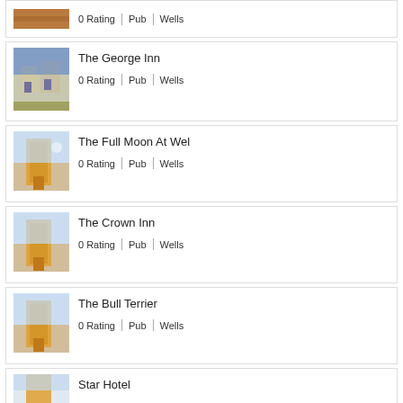0 Rating | Pub | Wells
The George Inn
0 Rating | Pub | Wells
The Full Moon At Wel
0 Rating | Pub | Wells
The Crown Inn
0 Rating | Pub | Wells
The Bull Terrier
0 Rating | Pub | Wells
Star Hotel